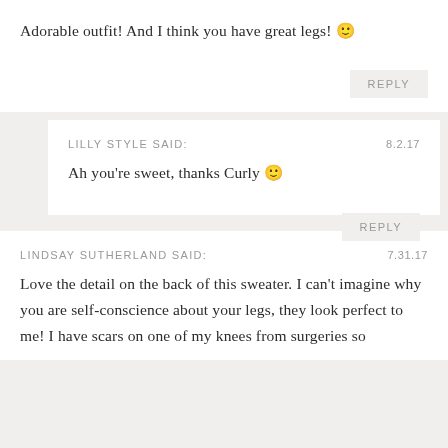Adorable outfit! And I think you have great legs! 🙂
REPLY
LILLY STYLE SAID:
8.2.17
Ah you're sweet, thanks Curly 🙂
REPLY
LINDSAY SUTHERLAND SAID:
7.31.17
Love the detail on the back of this sweater. I can't imagine why you are self-conscience about your legs, they look perfect to me! I have scars on one of my knees from surgeries so